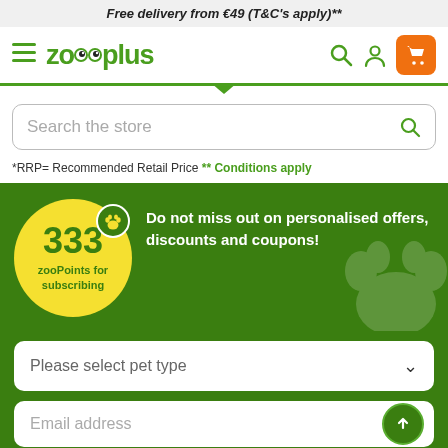Free delivery from €49 (T&C's apply)**
[Figure (logo): zooplus logo with owl eyes icon, hamburger menu, search icon, user icon, and orange shopping cart button]
Search the store
*RRP= Recommended Retail Price ** Conditions apply
333 zooPoints for subscribing
Do not miss out on personalised offers, discounts and coupons!
Please select pet type
Email address
Subscribe